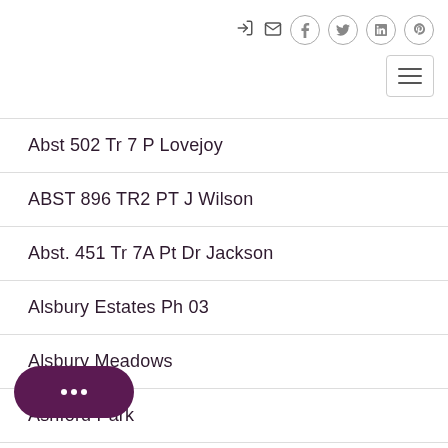login mail facebook twitter linkedin pinterest menu
Abst 502 Tr 7 P Lovejoy
ABST 896 TR2 PT J Wilson
Abst. 451 Tr 7A Pt Dr Jackson
Alsbury Estates Ph 03
Alsbury Meadows
Ashford Park
Bont Tree